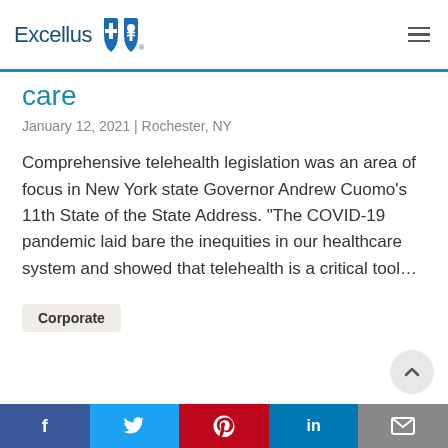Excellus BlueCross BlueShield
care
January 12, 2021 | Rochester, NY
Comprehensive telehealth legislation was an area of focus in New York state Governor Andrew Cuomo’s 11th State of the State Address. “The COVID-19 pandemic laid bare the inequities in our healthcare system and showed that telehealth is a critical tool…
Corporate
f  twitter  pinterest  in  email